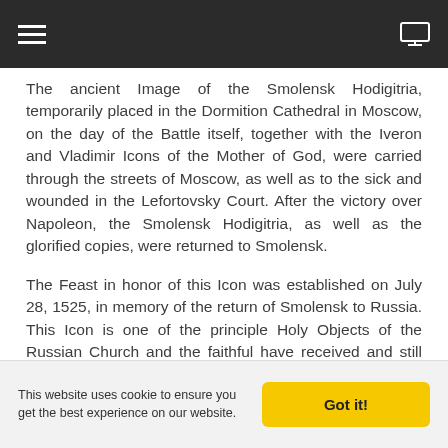≡  [monitor icon]
The ancient Image of the Smolensk Hodigitria, temporarily placed in the Dormition Cathedral in Moscow, on the day of the Battle itself, together with the Iveron and Vladimir Icons of the Mother of God, were carried through the streets of Moscow, as well as to the sick and wounded in the Lefortovsky Court. After the victory over Napoleon, the Smolensk Hodigitria, as well as the glorified copies, were returned to Smolensk.
The Feast in honor of this Icon was established on July 28, 1525, in memory of the return of Smolensk to Russia. This Icon is one of the principle Holy Objects of the Russian Church and the faithful have received and still receive from it abundant graces of help and healing. The Mother of God, through Her Holy Image helps and strengthens us, guiding us to salvation and thus, we cry out to her: O All-gracious Hodigitria, Praise of Smolensk and the whole Russian Land you are the confirmation of the believing people. Rejoice, Hodigitria, Salvation of Christians!
Tikhvin.
This website uses cookie to ensure you get the best experience on our website.